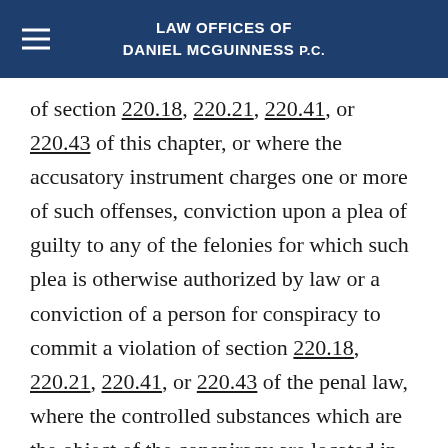LAW OFFICES OF DANIEL McGUINNESS P.C.
of section 220.18, 220.21, 220.41, or 220.43 of this chapter, or where the accusatory instrument charges one or more of such offenses, conviction upon a plea of guilty to any of the felonies for which such plea is otherwise authorized by law or a conviction of a person for conspiracy to commit a violation of section 220.18, 220.21, 220.41, or 220.43 of the penal law, where the controlled substances which are the object of the conspiracy are located in the real property